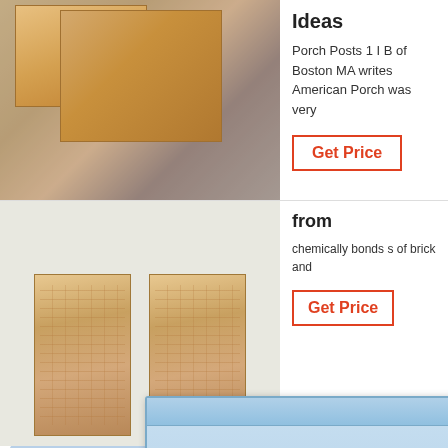[Figure (photo): Stack of orange/tan firebricks or refractory bricks on a metallic surface with plastic wrap in background]
Ideas
Porch Posts 1 I B of Boston MA writes American Porch was very
Get Price
[Figure (photo): Two tan/speckled rectangular bricks standing upright side by side]
from
chemically bonds s of brick and
Get Price
[Figure (screenshot): Chinese language chat popup dialog with title text and two buttons: 开始交谈 and 接受对话]
Get a Quote
Chat Now